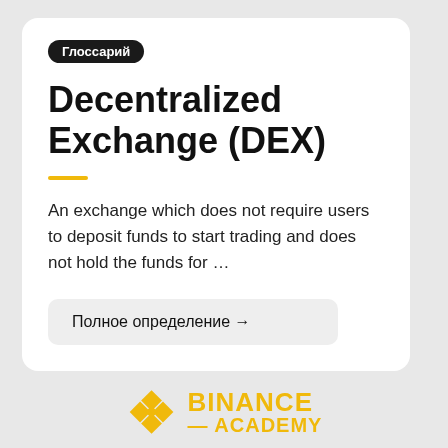Глоссарий
Decentralized Exchange (DEX)
An exchange which does not require users to deposit funds to start trading and does not hold the funds for …
Полное определение →
[Figure (logo): Binance Academy logo with diamond icon and yellow text]